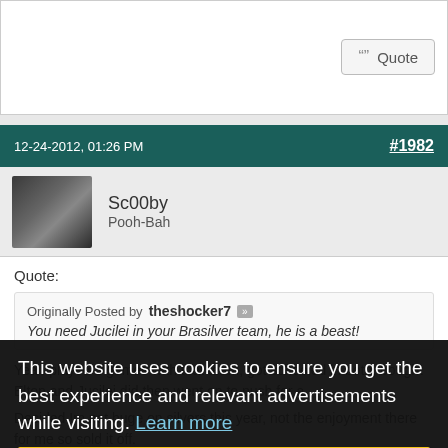Quote (button)
12-24-2012, 01:26 PM   #1982
Sc00by
Pooh-Bah
Quote:
Originally Posted by theshocker7
You need Jucilei in your Brasilver team, he is a beast!
Yea I played 2 games with that team, got schooled in both, bought Elton and Jucilei did then went on to push for a...
Decided Im not huge on silvers this year, not the enjoyment there for me so sold it off.
Guys the Serie A 4231 I posted is complete sex. Miccoli is just amazing. Cavani is a beast and the defence is untouchable.
This website uses cookies to ensure you get the best experience and relevant advertisements while visiting.  Learn more
Got it!